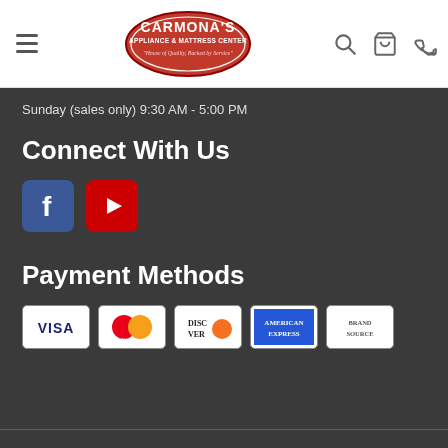Carmona's Appliance & Mattress Center — navigation header
Sunday (sales only) 9:30 AM - 5:00 PM
Connect With Us
[Figure (logo): Facebook icon (blue square with white F)]
[Figure (logo): YouTube icon (red square with white play button)]
Payment Methods
[Figure (logo): Payment method icons: Visa, MasterCard, Discover, American Express, Brand Source]